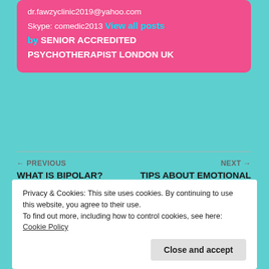dr.fawzyclinic2019@yahoo.com Skype: comedic2013 View all posts by SENIOR ACCREDITED PSYCHOTHERAPIST LONDON UK
← PREVIOUS
WHAT IS BIPOLAR?
NEXT →
TIPS ABOUT EMOTIONAL INTELLIGENCE AND LEADERSHIP
Privacy & Cookies: This site uses cookies. By continuing to use this website, you agree to their use.
To find out more, including how to control cookies, see here: Cookie Policy
Close and accept